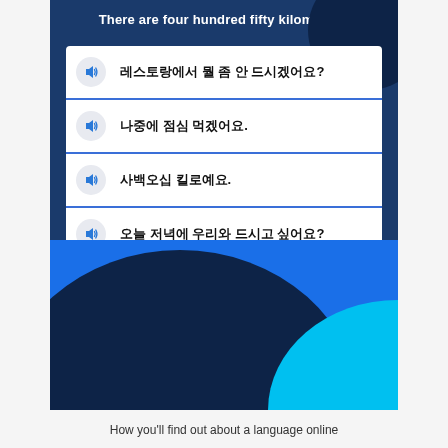There are four hundred fifty kilometers.
레스토랑에서 뭘 좀 안 드시겠어요?
나중에 점심 먹겠어요.
사백오십 킬로예요.
오늘 저녁에 우리와 드시고 싶어요?
How you'll find out about a language online